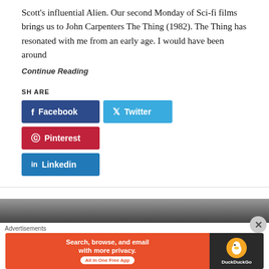Scott's influential Alien. Our second Monday of Sci-fi films brings us to John Carpenters The Thing (1982). The Thing has resonated with me from an early age. I would have been around
Continue Reading
SHARE
[Figure (infographic): Social share buttons: Facebook (dark blue), Twitter (light blue), Pinterest (red), Linkedin (medium blue)]
[Figure (photo): Partial black and white photo strip at bottom of page]
Advertisements
[Figure (infographic): DuckDuckGo advertisement banner: orange left panel with text 'Search, browse, and email with more privacy. All in One Free App', dark right panel with DuckDuckGo logo and duck icon]